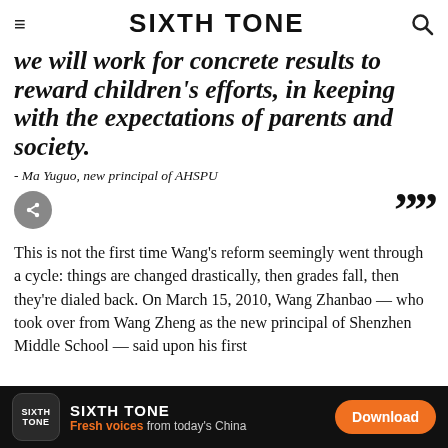SIXTH TONE
we will work for concrete results to reward children's efforts, in keeping with the expectations of parents and society.
- Ma Yuguo, new principal of AHSPU
This is not the first time Wang's reform seemingly went through a cycle: things are changed drastically, then grades fall, then they're dialed back. On March 15, 2010, Wang Zhanbao — who took over from Wang Zheng as the new principal of Shenzhen Middle School — said upon his first
SIXTH TONE
Fresh voices from today's China
Download